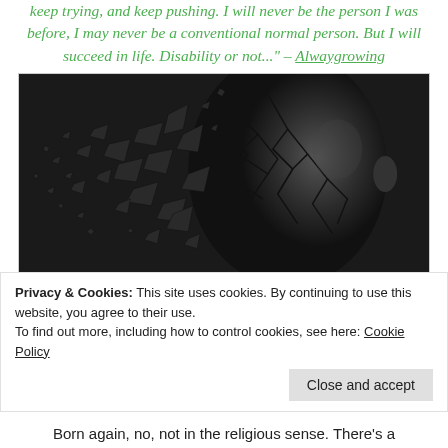keep trying, and keep pushing. I will never be the person I was before, I may never be a conventional normal person. But I will succeed in life. Disability or not..." – Alwaygrowing
[Figure (illustration): A 3D rendered black mannequin head with fragments and shards breaking away from the left side, against a white background inside a bordered box.]
Privacy & Cookies: This site uses cookies. By continuing to use this website, you agree to their use.
To find out more, including how to control cookies, see here: Cookie Policy
Close and accept
Born again, no, not in the religious sense. There's a